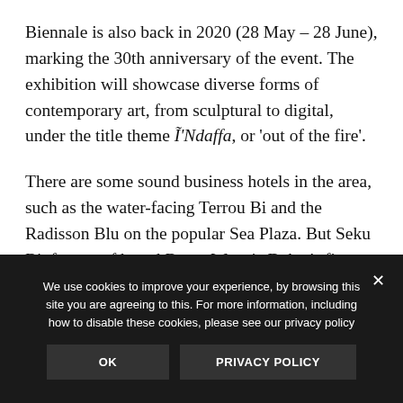Biennale is also back in 2020 (28 May – 28 June), marking the 30th anniversary of the event. The exhibition will showcase diverse forms of contemporary art, from sculptural to digital, under the title theme Ĩ'Ndaffa, or 'out of the fire'.
There are some sound business hotels in the area, such as the water-facing Terrou Bi and the Radisson Blu on the popular Sea Plaza. But Seku Bi, from surf brand Bantu Wax, is Dakar's first design hotel.
We use cookies to improve your experience, by browsing this site you are agreeing to this. For more information, including how to disable these cookies, please see our privacy policy